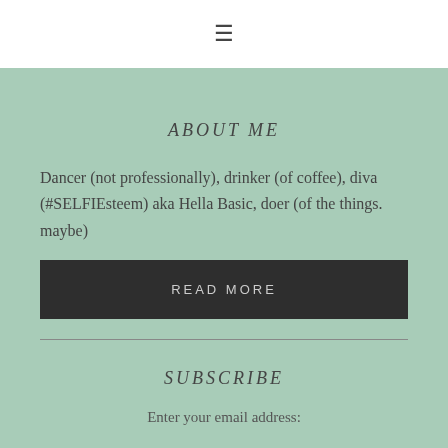☰
ABOUT ME
Dancer (not professionally), drinker (of coffee), diva (#SELFIEsteem) aka Hella Basic, doer (of the things. maybe)
READ MORE
SUBSCRIBE
Enter your email address: